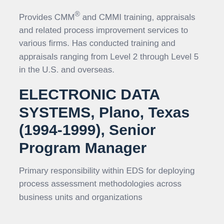Provides CMM® and CMMI training, appraisals and related process improvement services to various firms. Has conducted training and appraisals ranging from Level 2 through Level 5 in the U.S. and overseas.
ELECTRONIC DATA SYSTEMS, Plano, Texas (1994-1999), Senior Program Manager
Primary responsibility within EDS for deploying process assessment methodologies across business units and organizations